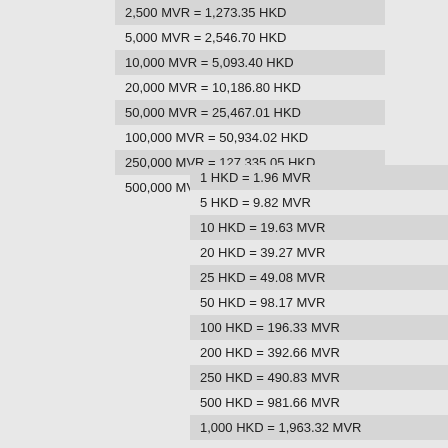| 2,500 MVR = 1,273.35 HKD |
| 5,000 MVR = 2,546.70 HKD |
| 10,000 MVR = 5,093.40 HKD |
| 20,000 MVR = 10,186.80 HKD |
| 50,000 MVR = 25,467.01 HKD |
| 100,000 MVR = 50,934.02 HKD |
| 250,000 MVR = 127,335.05 HKD |
| 500,000 MVR = 254,670.09 HKD |
| 1 HKD = 1.96 MVR |
| 5 HKD = 9.82 MVR |
| 10 HKD = 19.63 MVR |
| 20 HKD = 39.27 MVR |
| 25 HKD = 49.08 MVR |
| 50 HKD = 98.17 MVR |
| 100 HKD = 196.33 MVR |
| 200 HKD = 392.66 MVR |
| 250 HKD = 490.83 MVR |
| 500 HKD = 981.66 MVR |
| 1,000 HKD = 1,963.32 MVR |
| 2,000 HKD = 3,926.65 MVR |
| 2,500 HKD = 4,908.31 MVR |
| 5,000 HKD = 9,816.62 MVR |
| 10,000 HKD = 19,633.24 MVR |